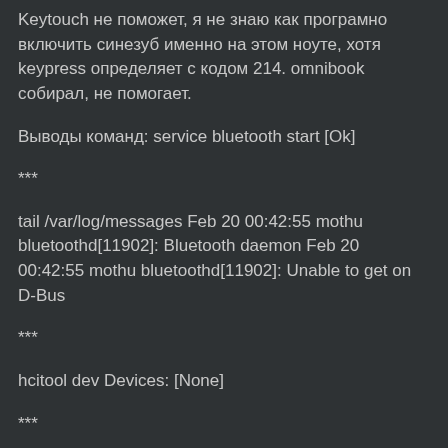Keytouch не поможет, я не знаю как програмно включить синезуб именно на этом ноуте, хотя keypress определяет с кодом 214. omnibook собирал, не помогает.
Выводы команд: service bluetooth start [Ok]
***
tail /var/log/messages Feb 20 00:42:55 mothu bluetoothd[11902]: Bluetooth daemon Feb 20 00:42:55 mothu bluetoothd[11902]: Unable to get on D-Bus
***
hcitool dev Devices: [None]
***
hcidump HCI sniffer - Bluetooth packet analyzer ver 1.42 Can't open device: No such device